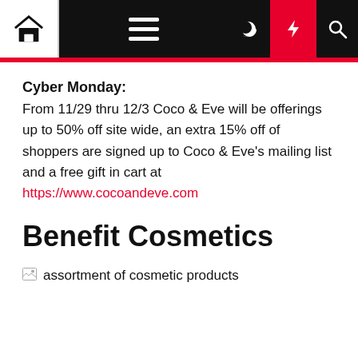Navigation bar with home, menu, dark mode, lightning/deals, and search icons
Cyber Monday: From 11/29 thru 12/3 Coco & Eve will be offerings up to 50% off site wide, an extra 15% off of shoppers are signed up to Coco & Eve's mailing list and a free gift in cart at https://www.cocoandeve.com
Benefit Cosmetics
[Figure (photo): Broken image placeholder with alt text: assortment of cosmetic products]